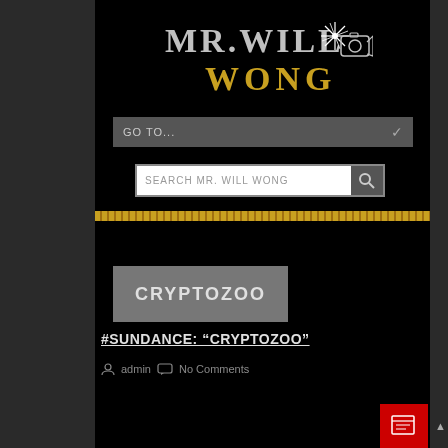[Figure (logo): Mr. Will Wong website logo with stylized text MR.WILL WONG and starburst graphic]
GO TO...
SEARCH MR. WILL WONG
[Figure (illustration): CRYPTOZOO article thumbnail with grey background]
#SUNDANCE: “CRYPTOZOO”
admin  No Comments